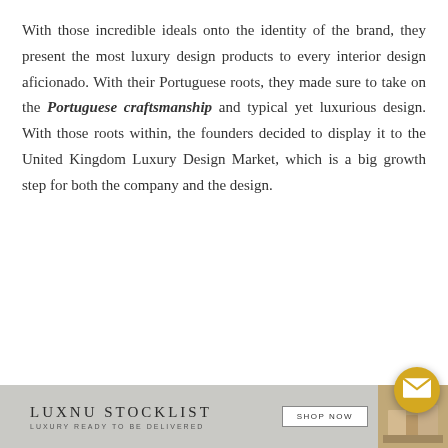With those incredible ideals onto the identity of the brand, they present the most luxury design products to every interior design aficionado. With their Portuguese roots, they made sure to take on the Portuguese craftsmanship and typical yet luxurious design. With those roots within, the founders decided to display it to the United Kingdom Luxury Design Market, which is a big growth step for both the company and the design.
[Figure (infographic): Footer banner with LUXNU STOCKLIST branding, LUXURY READY TO BE DELIVERED tagline, SHOP NOW button, and a small product image. A circular gold mail/envelope button overlays the bottom-right area.]